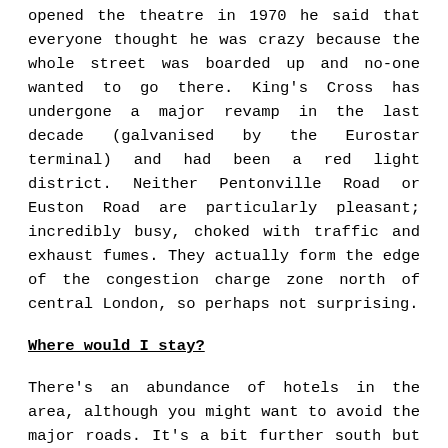opened the theatre in 1970 he said that everyone thought he was crazy because the whole street was boarded up and no-one wanted to go there. King's Cross has undergone a major revamp in the last decade (galvanised by the Eurostar terminal) and had been a red light district. Neither Pentonville Road or Euston Road are particularly pleasant; incredibly busy, choked with traffic and exhaust fumes. They actually form the edge of the congestion charge zone north of central London, so perhaps not surprising.
Where would I stay?
There's an abundance of hotels in the area, although you might want to avoid the major roads. It's a bit further south but I seem to